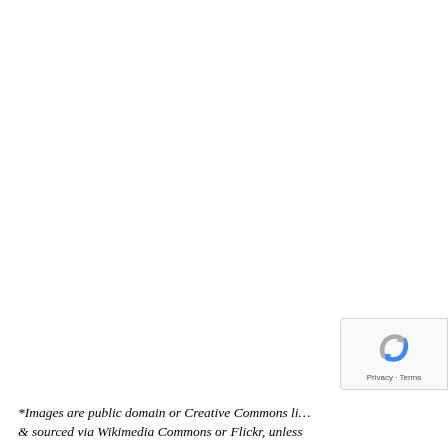*Images are public domain or Creative Commons li... & sourced via Wikimedia Commons or Flickr, unless...